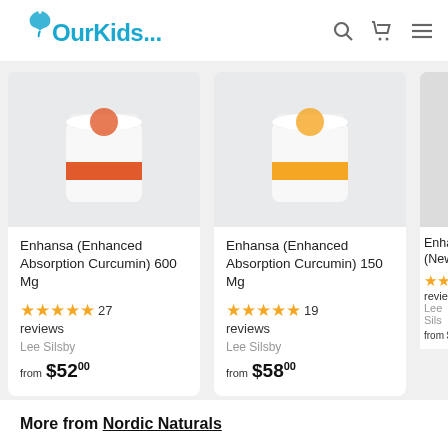[Figure (logo): OurKids... logo with blue bird/butterfly icon]
Enhansa (Enhanced Absorption Curcumin) 600 Mg
27 reviews
Lee Silsby
from $52.00
Enhansa (Enhanced Absorption Curcumin) 150 Mg
19 reviews
Lee Silsby
from $58.00
Enhan (New ...
reviews
Lee Sils
from $...
More from Nordic Naturals